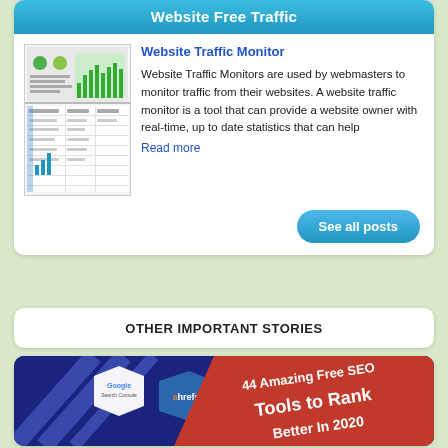Website Free Traffic
[Figure (screenshot): Thumbnail image of a website traffic monitor dashboard showing bar charts and data tables]
Website Traffic Monitor
Website Traffic Monitors are used by webmasters to monitor traffic from their websites. A website traffic monitor is a tool that can provide a website owner with real-time, up to date statistics that can help
Read more
See all posts
OTHER IMPORTANT STORIES
[Figure (infographic): SEO infographic banner showing Google Search Console and ahrefs logos with text '44 Amazing Free SEO Tools to Rank Better In 2020']